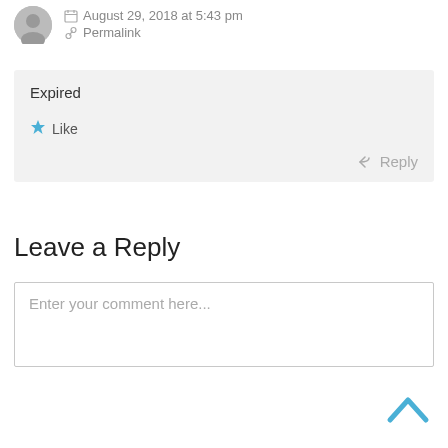August 29, 2018 at 5:43 pm
Permalink
Expired
Like
Reply
Leave a Reply
Enter your comment here...